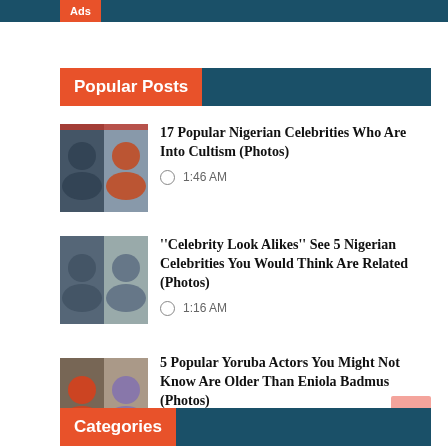Ads
Popular Posts
[Figure (photo): Thumbnail photo collage of Nigerian celebrities for cultism article]
17 Popular Nigerian Celebrities Who Are Into Cultism (Photos)
1:46 AM
[Figure (photo): Thumbnail photo collage of Nigerian celebrity look-alikes]
''Celebrity Look Alikes'' See 5 Nigerian Celebrities You Would Think Are Related (Photos)
1:16 AM
[Figure (photo): Thumbnail photo of Yoruba actors including Eniola Badmus article]
5 Popular Yoruba Actors You Might Not Know Are Older Than Eniola Badmus (Photos)
3:29 AM
Categories